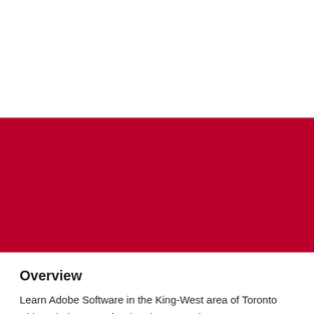[Figure (other): Large crimson/dark red rectangular banner filling the middle portion of the page, appears to be a decorative image or photo background with a solid dark red color.]
Overview
Learn Adobe Software in the King-West area of Toronto with an industry professional. Our teachers